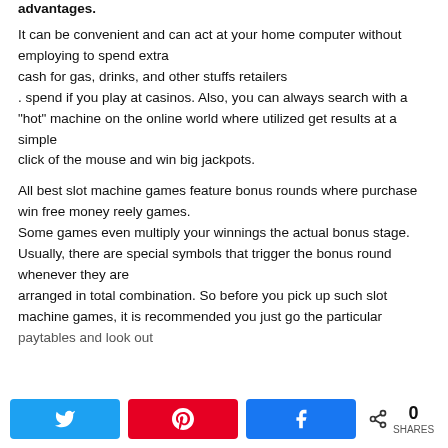advantages.
It can be convenient and can act at your home computer without employing to spend extra cash for gas, drinks, and other stuffs retailers . spend if you play at casinos. Also, you can always search with a “hot” machine on the online world where utilized get results at a simple click of the mouse and win big jackpots.
All best slot machine games feature bonus rounds where purchase win free money reely games. Some games even multiply your winnings the actual bonus stage. Usually, there are special symbols that trigger the bonus round whenever they are arranged in total combination. So before you pick up such slot machine games, it is recommended you just go the particular paytables and look out